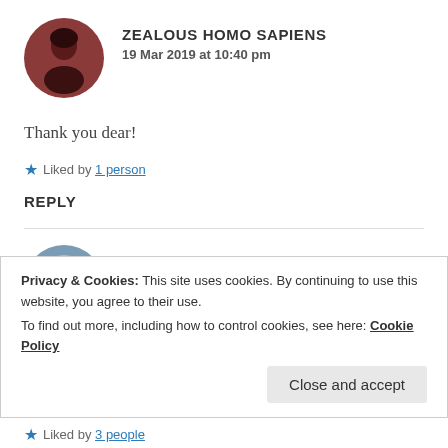[Figure (illustration): Circular avatar photo of a person with dark hair against a dark reddish-brown background]
ZEALOUS HOMO SAPIENS
19 Mar 2019 at 10:40 pm
Thank you dear!
★ Liked by 1 person
REPLY
[Figure (illustration): Circular avatar photo of a person with light hair against a blue-gray background]
ANANYA
Privacy & Cookies: This site uses cookies. By continuing to use this website, you agree to their use.
To find out more, including how to control cookies, see here: Cookie Policy
Close and accept
★ Liked by 3 people